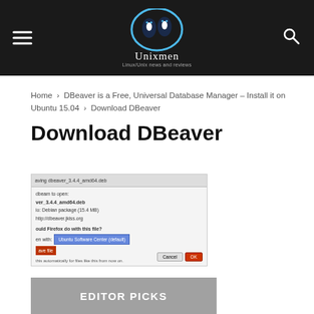Unixmen – Linux/Unix news and reviews
Home › DBeaver is a Free, Universal Database Manager – Install it on Ubuntu 15.04 › Download DBeaver
Download DBeaver
[Figure (screenshot): Firefox download dialog for dbeaver_3.4.4_amd64.deb showing options to open with Ubuntu Software Center or save file]
EDITOR PICKS